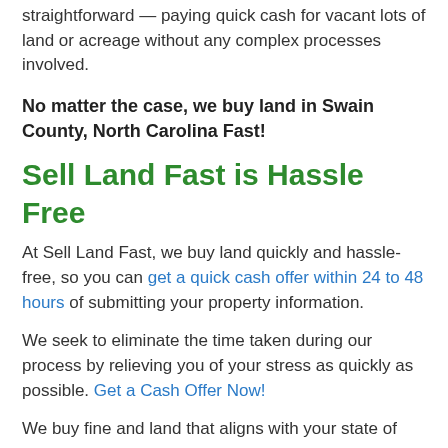straightforward — paying quick cash for vacant lots of land or acreage without any complex processes involved.
No matter the case, we buy land in Swain County, North Carolina Fast!
Sell Land Fast is Hassle Free
At Sell Land Fast, we buy land quickly and hassle-free, so you can get a quick cash offer within 24 to 48 hours of submitting your property information.
We seek to eliminate the time taken during our process by relieving you of your stress as quickly as possible. Get a Cash Offer Now!
We buy fine and land that aligns with your state of...